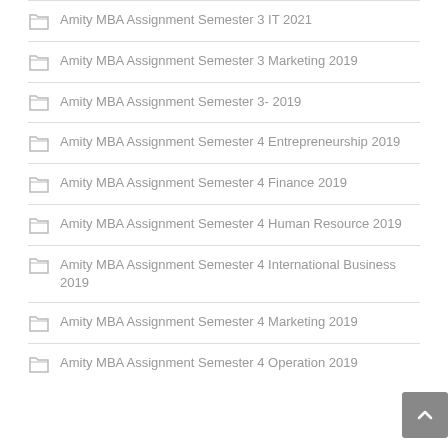Amity MBA Assignment Semester 3 IT 2021
Amity MBA Assignment Semester 3 Marketing 2019
Amity MBA Assignment Semester 3- 2019
Amity MBA Assignment Semester 4 Entrepreneurship 2019
Amity MBA Assignment Semester 4 Finance 2019
Amity MBA Assignment Semester 4 Human Resource 2019
Amity MBA Assignment Semester 4 International Business 2019
Amity MBA Assignment Semester 4 Marketing 2019
Amity MBA Assignment Semester 4 Operation 2019